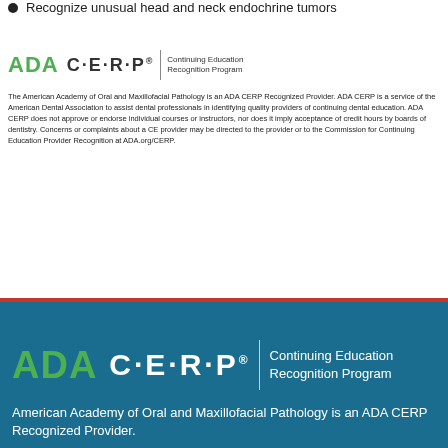Recognize unusual head and neck endochrine tumors
[Figure (logo): ADA CERP Continuing Education Recognition Program logo (small, color version on white background)]
The American Academy of Oral and Maxillofacial Pathology is an ADA CERP Recognized Provider. ADA CERP is a service of the American Dental Association to assist dental professionals in identifying quality providers of continuing dental education. ADA CERP does not approve or endorse individual courses or instructors, nor does it imply acceptance of credit hours by boards of dentistry. Concerns or complaints about a CE provider may be directed to the provider or to the Commission for Continuing Education Provider Recognition at ADA.org/CERP.
[Figure (logo): ADA CERP Continuing Education Recognition Program logo (large, white version on blue background)]
American Academy of Oral and Maxillofacial Pathology is an ADA CERP Recognized Provider.